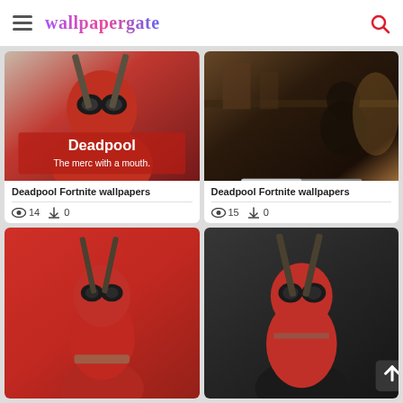wallpapergate
[Figure (photo): Deadpool character in red and black costume with swords, text overlay 'Deadpool The merc with a mouth.']
Deadpool Fortnite wallpapers
👁 14  ⬇ 0
[Figure (photo): Deadpool Fortnite dark scene screenshot]
Deadpool Fortnite wallpapers
👁 15  ⬇ 0
[Figure (photo): Deadpool Fortnite character on red background]
[Figure (photo): Deadpool Fortnite character on dark background with back-to-top button]